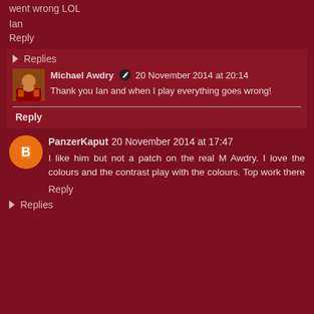went wrong LOL
Ian
Reply
Replies
Michael Awdry  20 November 2014 at 20:14
Thank you Ian and when I play everything goes wrong!
Reply
PanzerKaput  20 November 2014 at 17:47
I like him but not a patch on the real M Awdry. I love the colours and the contrast play with the colours. Top work there
Reply
Replies